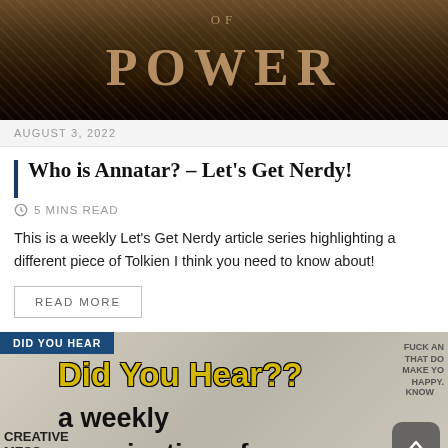[Figure (photo): Dark cinematic banner image showing the word POWER in large serif letters against a smoky brown/gold background, with 'of' text above it — appears to be from a Rings of Power promotional image.]
AUGUST 3, 2022
Who is Annatar? – Let's Get Nerdy!
5 MINS READ
This is a weekly Let's Get Nerdy article series highlighting a different piece of Tolkien I think you need to know about!
READ MORE
[Figure (photo): Newspaper/magazine collage style image with 'DID YOU HEAR' badge in blue, large yellow bold text reading 'Did You Hear??' and black text below reading 'a weekly examination of' on a grey newsprint background. Also shows 'CREATIVE MESS' text on the left side.]